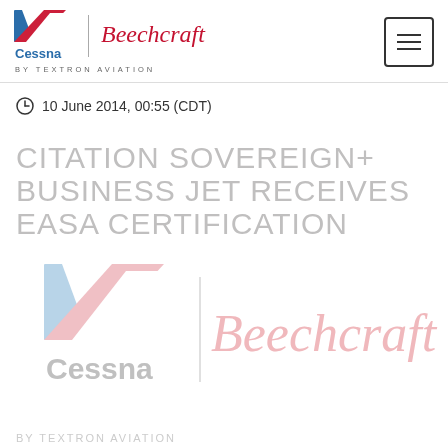[Figure (logo): Cessna and Beechcraft by Textron Aviation logos in header]
10 June 2014, 00:55 (CDT)
CITATION SOVEREIGN+ BUSINESS JET RECEIVES EASA CERTIFICATION
[Figure (logo): Large faded Cessna and Beechcraft logos in article body]